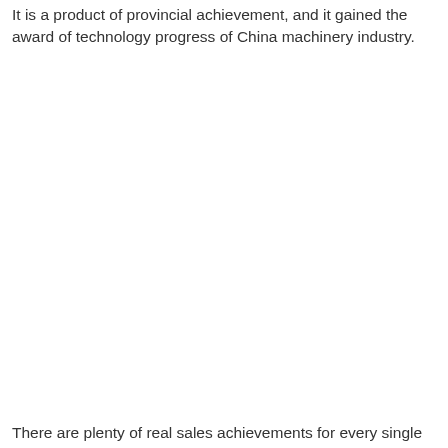It is a product of provincial achievement, and it gained the award of technology progress of China machinery industry.
There are plenty of real sales achievements for every single